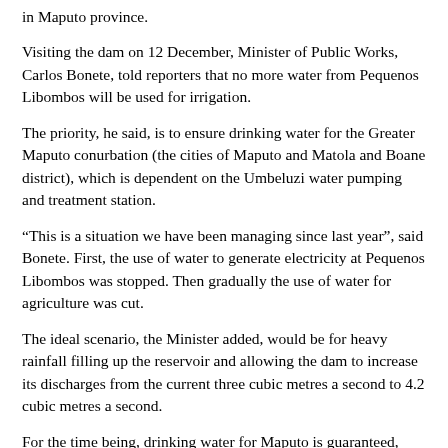in Maputo province.
Visiting the dam on 12 December, Minister of Public Works, Carlos Bonete, told reporters that no more water from Pequenos Libombos will be used for irrigation.
The priority, he said, is to ensure drinking water for the Greater Maputo conurbation (the cities of Maputo and Matola and Boane district), which is dependent on the Umbeluzi water pumping and treatment station.
“This is a situation we have been managing since last year”, said Bonete. First, the use of water to generate electricity at Pequenos Libombos was stopped. Then gradually the use of water for agriculture was cut.
The ideal scenario, the Minister added, would be for heavy rainfall filling up the reservoir and allowing the dam to increase its discharges from the current three cubic metres a second to 4.2 cubic metres a second.
For the time being, drinking water for Maputo is guaranteed, said Bonete, but he urged citizens to use water sparingly. In the current situation, they should not water their gardens or use hosepipes to wash their cars.